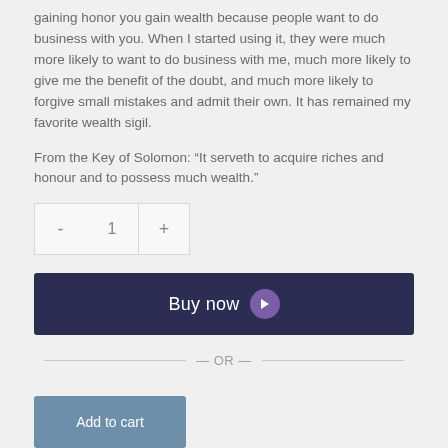gaining honor you gain wealth because people want to do business with you. When I started using it, they were much more likely to want to do business with me, much more likely to give me the benefit of the doubt, and much more likely to forgive small mistakes and admit their own. It has remained my favorite wealth sigil.
From the Key of Solomon: “It serveth to acquire riches and honour and to possess much wealth.”
Quantity selector: - 1 +
Buy now
— OR —
Add to cart